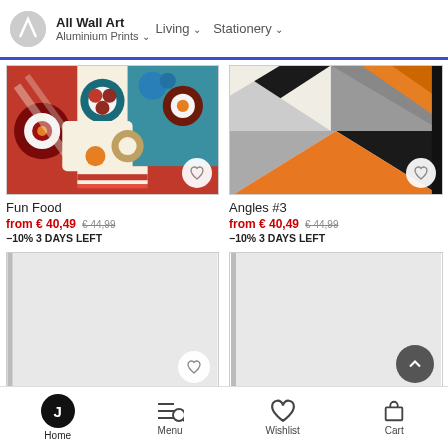All Wall Art | Aluminium Prints | Living | Stationery
[Figure (photo): Fun Food colorful pop art print with geometric food shapes in red, teal, blue, maroon, cream]
Fun Food
from € 40,49 € 44,99 -10% 3 DAYS LEFT
[Figure (photo): Angles #3 geometric triangle pattern print in grey, black, orange, cream]
Angles #3
from € 40,49 € 44,99 -10% 3 DAYS LEFT
[Figure (photo): Breeze #1 light grey blank loading placeholder image]
Breeze #1
from € 40,49 € 44,99 -10% 3 DAYS LEFT
[Figure (photo): Northern Lights light grey blank loading placeholder image]
Northern Lights
from € 40,49 € 44,99 -10% 3 DAYS LEFT
Home | Menu | Wishlist | Cart